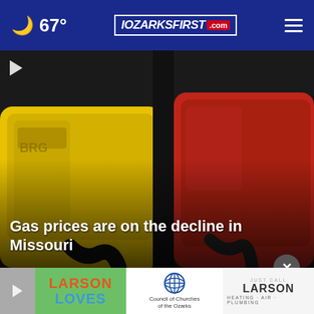67° | OZARKSFIRST.com
[Figure (photo): Close-up photo of yellow and red gas pump nozzles at a gas station]
Gas prices are on the decline in Missouri
[Figure (photo): Bottom strip showing Larson Loves, Council of Churches of the Ozarks, and Larson Heating Air Plumbing advertisements]